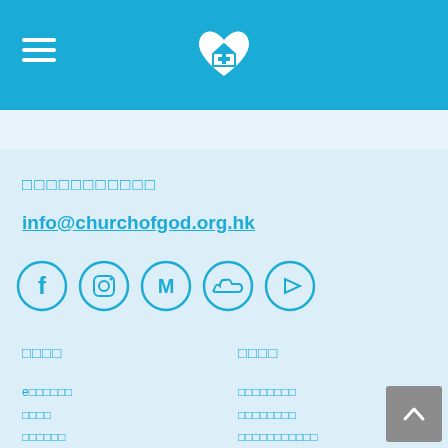Church of God Hong Kong - navigation header with logo
[Figure (logo): Church of God logo: white heart with cross inside, on blue background]
□□□□□□□□□□□
info@churchofgod.org.hk
[Figure (infographic): Social media icons row: Facebook, Instagram, Medium, SoundCloud, YouTube]
□□□□
□□□□
e□□□□□□
□□□□
□□□□□□
□□□□□□□□
□□□□□□□□
□□□□□□□□□□□